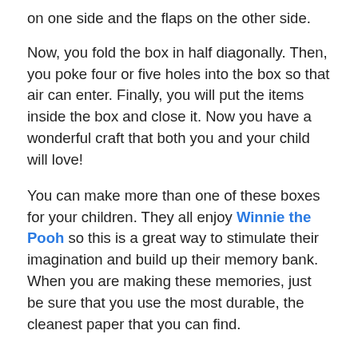on one side and the flaps on the other side.
Now, you fold the box in half diagonally. Then, you poke four or five holes into the box so that air can enter. Finally, you will put the items inside the box and close it. Now you have a wonderful craft that both you and your child will love!
You can make more than one of these boxes for your children. They all enjoy Winnie the Pooh so this is a great way to stimulate their imagination and build up their memory bank. When you are making these memories, just be sure that you use the most durable, the cleanest paper that you can find.